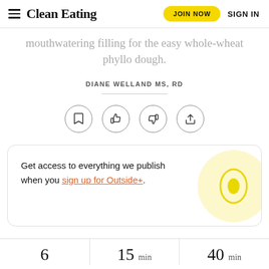Clean Eating | JOIN NOW | SIGN IN
mouthwatering filling for the easy whole-wheat phyllo dough.
DIANE WELLAND MS, RD
[Figure (infographic): Four circular icon buttons: bookmark, thumbs up, thumbs down, share]
Get access to everything we publish when you sign up for Outside+.
6   15 min   40 min